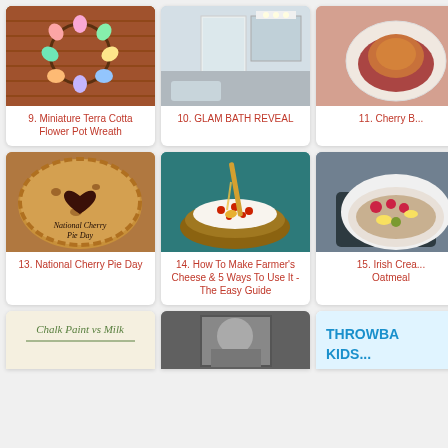[Figure (photo): Miniature Terra Cotta Flower Pot Wreath - colorful pastel egg-shaped pots on brick background]
9. Miniature Terra Cotta Flower Pot Wreath
[Figure (photo): Glam bathroom reveal - modern bathroom interior]
10. GLAM BATH REVEAL
[Figure (photo): Cherry B... - dish with cherry sauce (partially cut off)]
11. Cherry B
[Figure (photo): National Cherry Pie Day - golden baked pie with heart cutout]
13. National Cherry Pie Day
[Figure (photo): How To Make Farmer's Cheese with honey drizzle and pomegranate seeds]
14. How To Make Farmer's Cheese & 5 Ways To Use It - The Easy Guide
[Figure (photo): Irish Cream Oatmeal bowl with raspberries and banana slices (partially cut off)]
15. Irish Crea Oatmeal
[Figure (photo): Chalk Paint vs Milk Paint comparison - handwritten sign style]
[Figure (photo): Black and white portrait photo (partially visible)]
[Figure (photo): Throwback Kids... - blue text on light background]